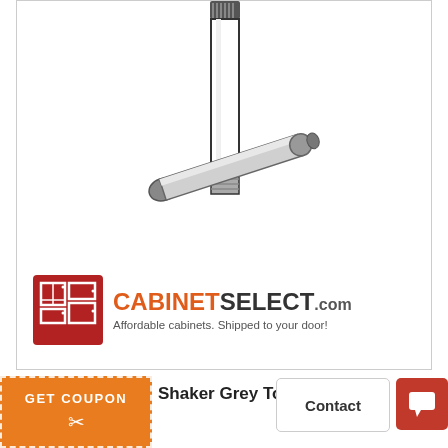[Figure (illustration): Product illustration showing two hinge pins or cabinet hardware screws/bolts — one vertical cylindrical bolt with threading at the bottom, and one horizontal cylindrical dowel/pin overlapping it, on a white background.]
[Figure (logo): CabinetSelect.com logo — red square icon with white cabinet outlines, orange CABINET and dark SELECT.com text, tagline: Affordable cabinets. Shipped to your door!]
Shaker Grey Tou
GET COUPON
Contact